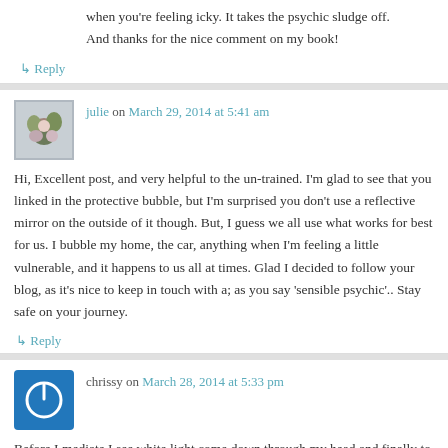when you're feeling icky. It takes the psychic sludge off. And thanks for the nice comment on my book!
↳ Reply
julie on March 29, 2014 at 5:41 am
Hi, Excellent post, and very helpful to the un-trained. I'm glad to see that you linked in the protective bubble, but I'm surprised you don't use a reflective mirror on the outside of it though. But, I guess we all use what works for best for us. I bubble my home, the car, anything when I'm feeling a little vulnerable, and it happens to us all at times. Glad I decided to follow your blog, as it's nice to keep in touch with a; as you say 'sensible psychic'.. Stay safe on your journey.
↳ Reply
chrissy on March 28, 2014 at 5:33 pm
Before I mediate I see white light come down through my head and finally to my feet which then become roots that go